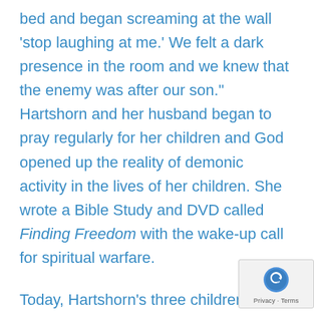bed and began screaming at the wall 'stop laughing at me.' We felt a dark presence in the room and we knew that the enemy was after our son." Hartshorn and her husband began to pray regularly for her children and God opened up the reality of demonic activity in the lives of her children. She wrote a Bible Study and DVD called Finding Freedom with the wake-up call for spiritual warfare.
Today, Hartshorn's three children are headed into the ministry. "You would have never saw that five years ago," she said. "It took years, and my husband and I connected with other parents and began to pray regularly for our children." Prayer carried Estabrook when she announced her situation on a Christian TV